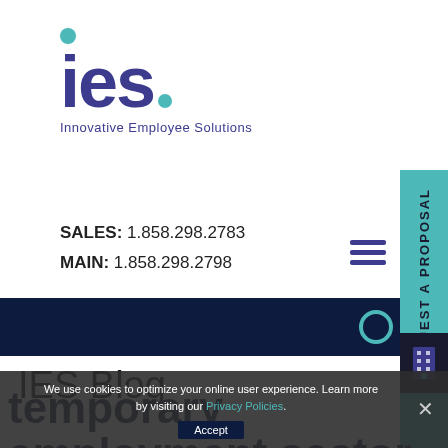[Figure (logo): IES - Innovative Employee Solutions logo with teal dot and period]
SALES: 1.858.298.2783
MAIN: 1.858.298.2798
REQUEST A PROPOSAL
IES Blog
temporary employment sector remains lucrative
We use cookies to optimize your online user experience. Learn more by visiting our Privacy Policies.